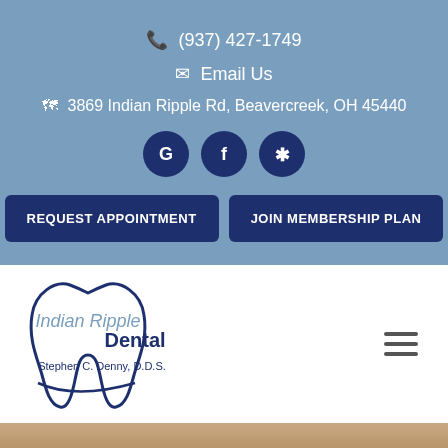(937) 427-1749
Email Us
3869 Indian Ripple Rd, Beavercreek, OH 45440
[Figure (logo): Social media icons: Google, Facebook, Yelp in dark navy circles]
REQUEST APPOINTMENT
JOIN MEMBERSHIP PLAN
[Figure (logo): Indian Ripple Dental logo with tooth graphic and text 'Indian Ripple Dental, Stephen C. Denny, D.D.S.']
[Figure (photo): Bottom strip showing a partial photo of a person's face]